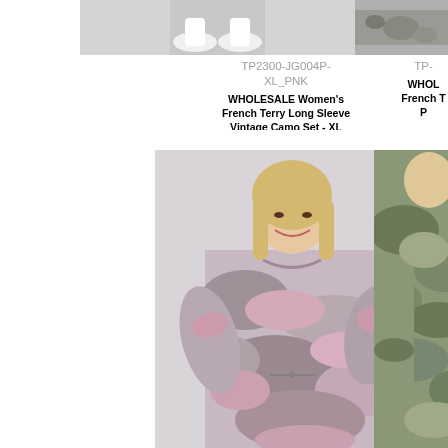[Figure (photo): Top portion of product photo showing white sneakers on gray background - first product (pink camo set)]
[Figure (photo): Top portion of product photo on right side - partially cropped]
TP2300-JG004P-XL_PNK
WHOLESALE Women's French Terry Long Sleeve Vintage Camo Set - XL
TP
WHOL French T P
[Figure (photo): Woman wearing pink and gray camouflage French terry long sleeve top and matching jogger pants, standing against light gray background]
[Figure (photo): Partial view of person wearing green/gray camouflage French terry long sleeve top, cropped on right side]